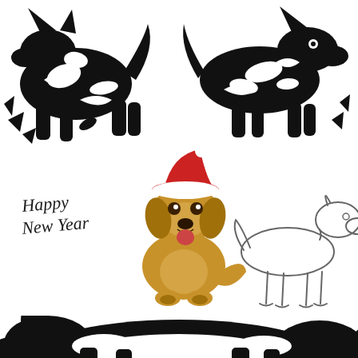[Figure (illustration): Top section: two black silhouette/tribal-style illustrations of dogs side by side. Left silhouette shows a dog in a crouching or playing pose with abstract black shapes. Right silhouette shows a similar abstract tribal dog design.]
[Figure (illustration): Middle-left: a realistic color illustration of a golden retriever puppy sitting upright, wearing a red Santa hat, smiling with tongue out. Next to it on the left is cursive handwritten text 'Happy New Year'. To the right is a simple outline/sketch drawing of a labrador-type dog standing in profile view.]
[Figure (illustration): Bottom section: a partial black silhouette illustration of a dog (appears to be a larger breed) lying down or in a low pose, cropped at the bottom edge of the page.]